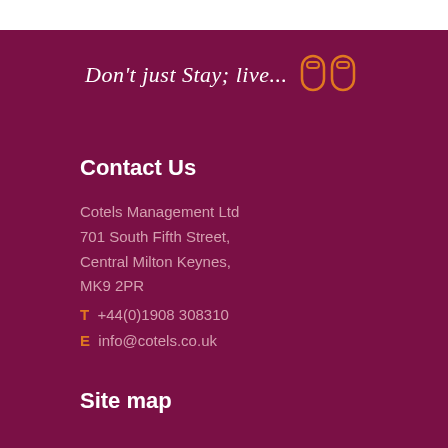Don't just Stay; live...
Contact Us
Cotels Management Ltd
701 South Fifth Street,
Central Milton Keynes,
MK9 2PR
T +44(0)1908 308310
E info@cotels.co.uk
Site map